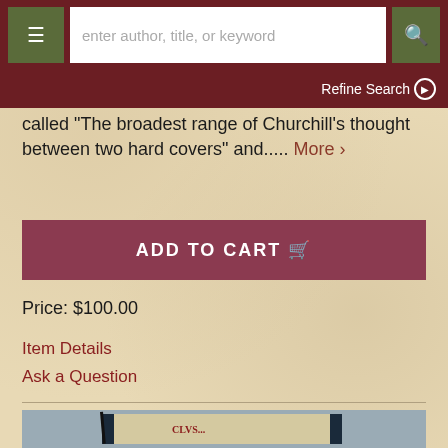enter author, title, or keyword
Refine Search
called "The broadest range of Churchill's thought between two hard covers" and..... More >
ADD TO CART
Price: $100.00
Item Details
Ask a Question
[Figure (photo): Photo of a book with a beige/cream cover showing partial text, displayed at an angle against a grey-blue background]